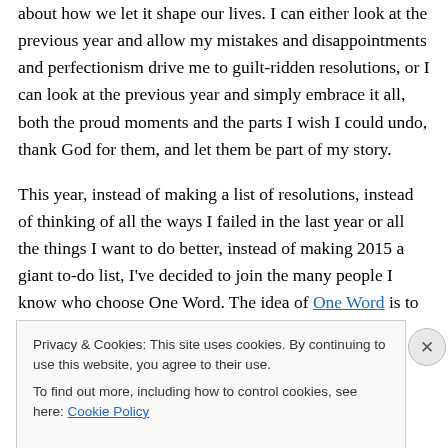about how we let it shape our lives. I can either look at the previous year and allow my mistakes and disappointments and perfectionism drive me to guilt-ridden resolutions, or I can look at the previous year and simply embrace it all, both the proud moments and the parts I wish I could undo, thank God for them, and let them be part of my story.
This year, instead of making a list of resolutions, instead of thinking of all the ways I failed in the last year or all the things I want to do better, instead of making 2015 a giant to-do list, I've decided to join the many people I know who choose One Word. The idea of One Word is to get rid of
Privacy & Cookies: This site uses cookies. By continuing to use this website, you agree to their use.
To find out more, including how to control cookies, see here: Cookie Policy
Close and accept